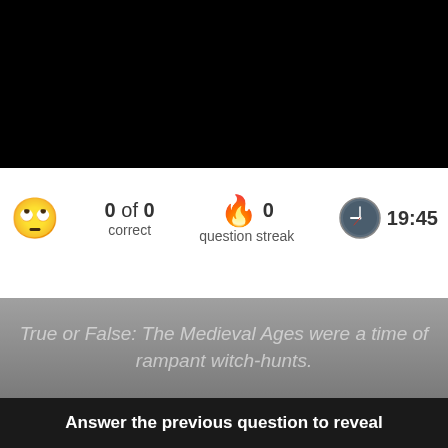[Figure (screenshot): Black top banner area]
0 of 0 correct
0 question streak
19:45
[Figure (illustration): Row of golden chevron/arrow shapes forming a decorative divider bar]
True or False: The Medieval Ages were a time of rampant witch-hunts.
Answer the previous question to reveal